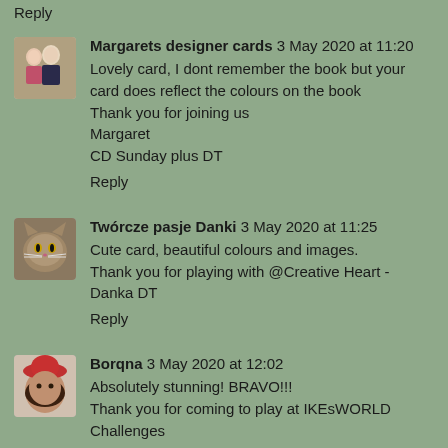Reply
Margarets designer cards  3 May 2020 at 11:20
Lovely card, I dont remember the book but your card does reflect the colours on the book
Thank you for joining us
Margaret
CD Sunday plus DT
Reply
Twórcze pasje Danki  3 May 2020 at 11:25
Cute card, beautiful colours and images.
Thank you for playing with @Creative Heart - Danka DT
Reply
Borqna  3 May 2020 at 12:02
Absolutely stunning! BRAVO!!!
Thank you for coming to play at IKEsWORLD Challenges